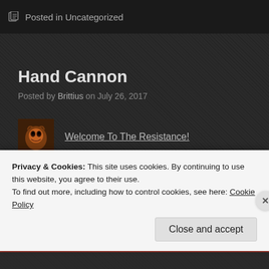Posted in Uncategorized
Hand Cannon
Posted by Brittius on July 26, 2017
[Figure (illustration): Small thumbnail image of a lion or animal face, brownish-orange tones]
Welcome To The Resistance!
Yes Honey, I know we are trying to save money.
Yes Honey, I know I have a lot of revolvers already.
But Honey…But…
Privacy & Cookies: This site uses cookies. By continuing to use this website, you agree to their use.
To find out more, including how to control cookies, see here: Cookie Policy
Close and accept